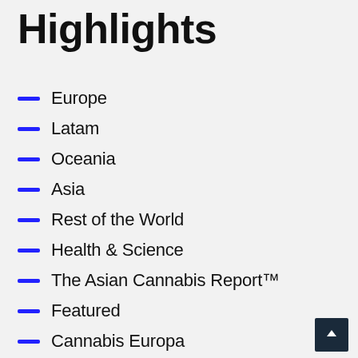Highlights
Europe
Latam
Oceania
Asia
Rest of the World
Health & Science
The Asian Cannabis Report™
Featured
Cannabis Europa
ICR3 Europe
International Cannabis Events